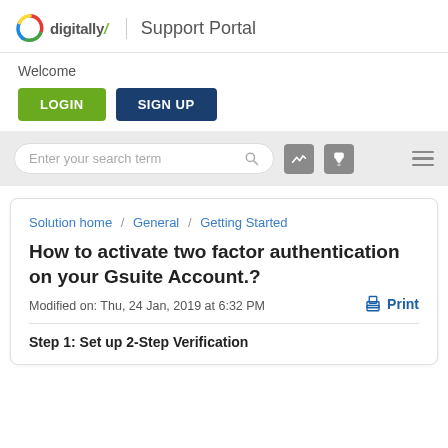digitally/ Support Portal
Welcome
LOGIN   SIGN UP
Enter your search term
Solution home / General / Getting Started
How to activate two factor authentication on your Gsuite Account.?
Modified on: Thu, 24 Jan, 2019 at 6:32 PM
Step 1: Set up 2-Step Verification